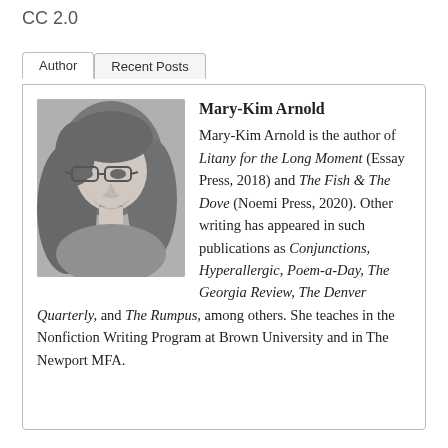CC 2.0
[Figure (photo): Black and white author photo of Mary-Kim Arnold, a woman with long dark hair and glasses, smiling slightly.]
Mary-Kim Arnold
Mary-Kim Arnold is the author of Litany for the Long Moment (Essay Press, 2018) and The Fish & The Dove (Noemi Press, 2020). Other writing has appeared in such publications as Conjunctions, Hyperallergic, Poem-a-Day, The Georgia Review, The Denver Quarterly, and The Rumpus, among others. She teaches in the Nonfiction Writing Program at Brown University and in The Newport MFA.